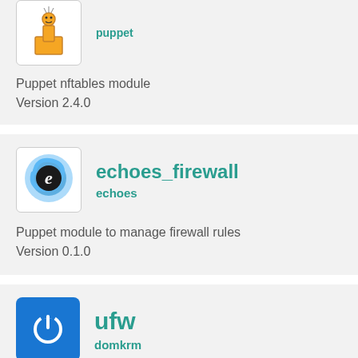[Figure (logo): Puppet module icon - small figure on a box]
puppet
Puppet nftables module
Version 2.4.0
[Figure (logo): echoes_firewall icon - blue swirling circle with black e letter]
echoes_firewall
echoes
Puppet module to manage firewall rules
Version 0.1.0
[Figure (logo): ufw icon - blue square with white power button symbol]
ufw
domkrm